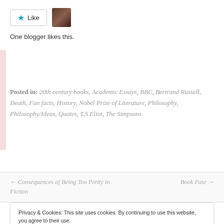Like | One blogger likes this.
Posted in: 20th century books, Academic Essays, BBC, Bertrand Russell, Death, Fun facts, History, Nobel Prize of Literature, Philosophy, Philosophy/Ideas, Quotes, T.S Eliot, The Simpsons
← Consequences of Being Too Pretty in Fiction
Book Fate →
Privacy & Cookies: This site uses cookies. By continuing to use this website, you agree to their use. To find out more, including how to control cookies, see here: Cookie Policy
Close and accept